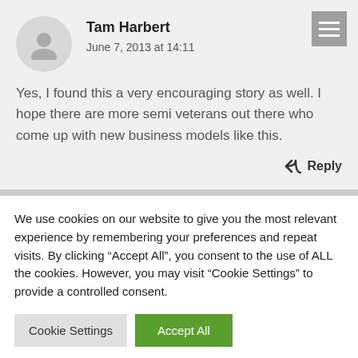Tam Harbert
June 7, 2013 at 14:11
Yes, I found this a very encouraging story as well. I hope there are more semi veterans out there who come up with new business models like this.
↩ Reply
We use cookies on our website to give you the most relevant experience by remembering your preferences and repeat visits. By clicking “Accept All”, you consent to the use of ALL the cookies. However, you may visit "Cookie Settings" to provide a controlled consent.
Cookie Settings
Accept All